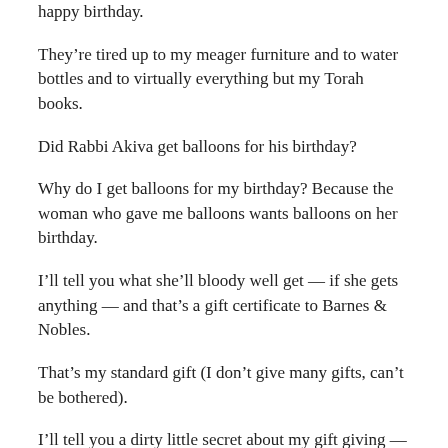happy birthday.
They’re tired up to my meager furniture and to water bottles and to virtually everything but my Torah books.
Did Rabbi Akiva get balloons for his birthday?
Why do I get balloons for my birthday? Because the woman who gave me balloons wants balloons on her birthday.
I’ll tell you what she’ll bloody well get — if she gets anything — and that’s a gift certificate to Barnes & Nobles.
That’s my standard gift (I don’t give many gifts, can’t be bothered).
I’ll tell you a dirty little secret about my gift giving — the only persons who should expect gifts from me are my wives and girlfriends. That’s it. Nobody else should expect even a card,